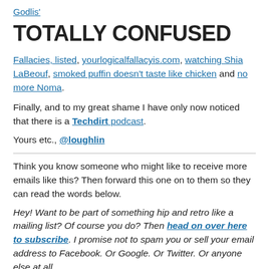Godlis'
TOTALLY CONFUSED
Fallacies, listed, yourlogicalfallacyis.com, watching Shia LaBeouf, smoked puffin doesn't taste like chicken and no more Noma.
Finally, and to my great shame I have only now noticed that there is a Techdirt podcast.
Yours etc., @loughlin
Think you know someone who might like to receive more emails like this? Then forward this one on to them so they can read the words below.
Hey! Want to be part of something hip and retro like a mailing list? Of course you do? Then head on over here to subscribe. I promise not to spam you or sell your email address to Facebook. Or Google. Or Twitter. Or anyone else at all.